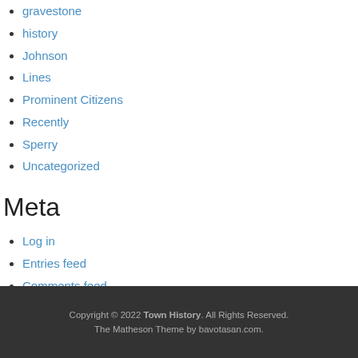gravestone
history
Johnson
Lines
Prominent Citizens
Recently
Sperry
Uncategorized
Meta
Log in
Entries feed
Comments feed
WordPress.org
Copyright © 2022 Town History. All Rights Reserved. The Matheson Theme by bavotasan.com.